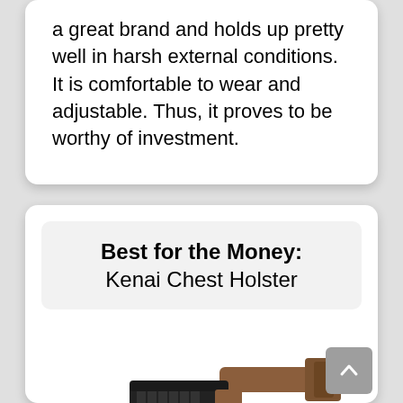a great brand and holds up pretty well in harsh external conditions. It is comfortable to wear and adjustable. Thus, it proves to be worthy of investment.
Best for the Money: Kenai Chest Holster
[Figure (photo): Partial bottom view of a Kenai chest holster product, showing brown straps and a dark firearm/holster mechanism]